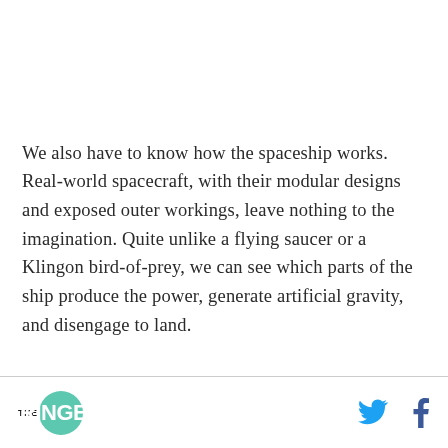We also have to know how the spaceship works. Real-world spacecraft, with their modular designs and exposed outer workings, leave nothing to the imagination. Quite unlike a flying saucer or a Klingon bird-of-prey, we can see which parts of the ship produce the power, generate artificial gravity, and disengage to land.
THE RINGER [logo] [Twitter icon] [Facebook icon]